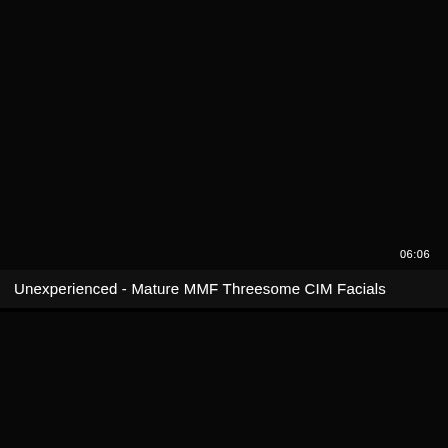[Figure (screenshot): Dark/black video thumbnail frame - top portion]
06:06
Unexperienced - Mature MMF Threesome CIM Facials
[Figure (screenshot): Dark/black video thumbnail frame - bottom portion]